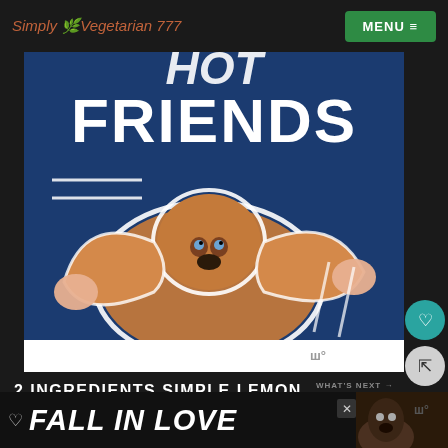Simply Vegetarian 777 | MENU
[Figure (photo): Blue background image with large white bold text 'FRIENDS' and a basset hound dog with its ears being held out by two hands, white decorative lines on the sides]
2 INGREDIENTS SIMPLE LEMON DRIZZLE
[Figure (photo): Thumbnail of Easy Pumpkin Cake Instant... with WHAT'S NEXT arrow label]
Take powdered sugar in a bowl and start
[Figure (photo): Ad banner: FALL IN LOVE with heart icon, close button, and dog image on the right, watermark logo]